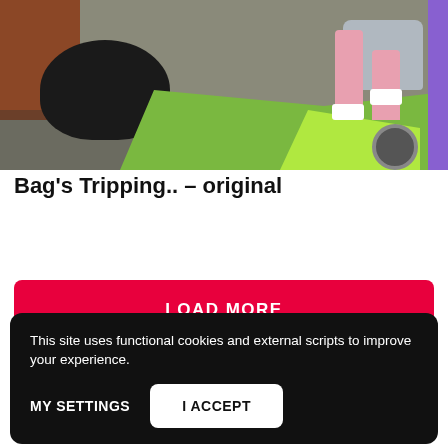[Figure (photo): Outdoor scene showing a person's legs in pink trousers and white shoes, a large black bin bag on pavement, green grass, brick wall, and a grey car partially visible on the right with a purple strip on the far right edge.]
Bag’s Tripping.. – original
LOAD MORE
This site uses functional cookies and external scripts to improve your experience.
MY SETTINGS
I ACCEPT